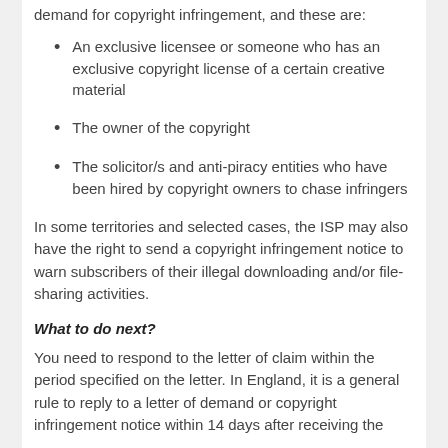demand for copyright infringement, and these are:
An exclusive licensee or someone who has an exclusive copyright license of a certain creative material
The owner of the copyright
The solicitor/s and anti-piracy entities who have been hired by copyright owners to chase infringers
In some territories and selected cases, the ISP may also have the right to send a copyright infringement notice to warn subscribers of their illegal downloading and/or file-sharing activities.
What to do next?
You need to respond to the letter of claim within the period specified on the letter. In England, it is a general rule to reply to a letter of demand or copyright infringement notice within 14 days after receiving the